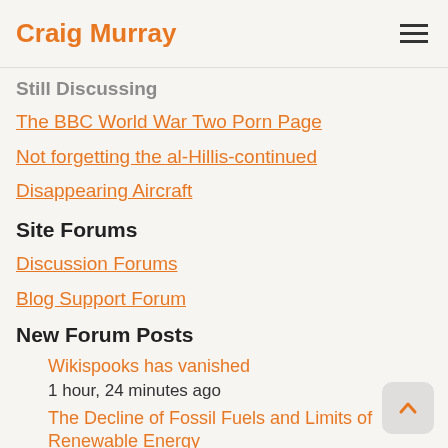Craig Murray
Still Discussing
The BBC World War Two Porn Page
Not forgetting the al-Hillis-continued
Disappearing Aircraft
Site Forums
Discussion Forums
Blog Support Forum
New Forum Posts
Wikispooks has vanished
1 hour, 24 minutes ago
The Decline of Fossil Fuels and Limits of Renewable Energy
4 hours, 40 minutes ago